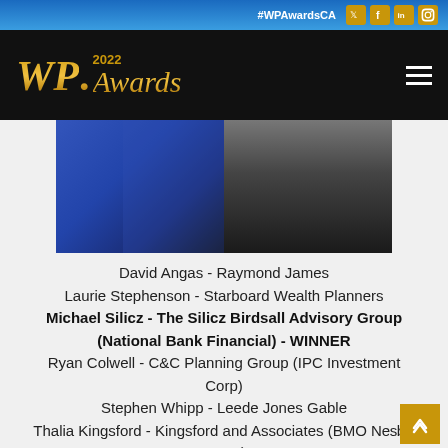#WPAwardsCA
[Figure (logo): WP Awards 2022 logo in gold on black background with hamburger menu icon]
[Figure (photo): Two people at awards ceremony - person in blue dress and person in dark suit]
David Angas - Raymond James
Laurie Stephenson - Starboard Wealth Planners
Michael Silicz - The Silicz Birdsall Advisory Group (National Bank Financial) - WINNER
Ryan Colwell - C&C Planning Group (IPC Investment Corp)
Stephen Whipp - Leede Jones Gable
Thalia Kingsford - Kingsford and Associates (BMO Nesbitt Burns)
Wolfgang Klein - Canaccord Genuity Wealth Management